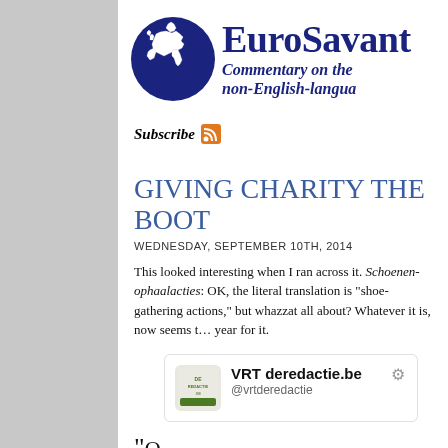[Figure (logo): EuroSavant logo with globe showing Europe and brand name. Tagline: Commentary on the non-English-language]
Subscribe
GIVING CHARITY THE BOOT
WEDNESDAY, SEPTEMBER 10TH, 2014
This looked interesting when I ran across it. Schoenen-ophaalacties: OK, the literal translation is "shoe-gathering actions," but whazzat all about? Whatever it is, now seems to be a bad year for it.
[Figure (screenshot): Tweet card from VRT deredactie.be @vrtderedactie]
"O...